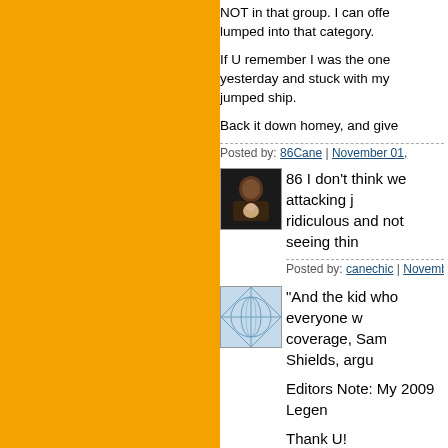NOT in that group. I can offe... lumped into that category.
If U remember I was the one... yesterday and stuck with my... jumped ship.
Back it down homey, and give...
Posted by: 86Cane | November 01,
[Figure (photo): User avatar photo of a person holding a baby, dark toned image]
86 I don't think we attacking j... ridiculous and not seeing thin...
Posted by: canechic | November 0...
[Figure (illustration): User avatar with blue web/network pattern on light blue background]
"And the kid who everyone w... coverage, Sam Shields, argu...
Editors Note: My 2009 Legen...
Thank U!
The Management
Posted by: 86Cane | November 01,